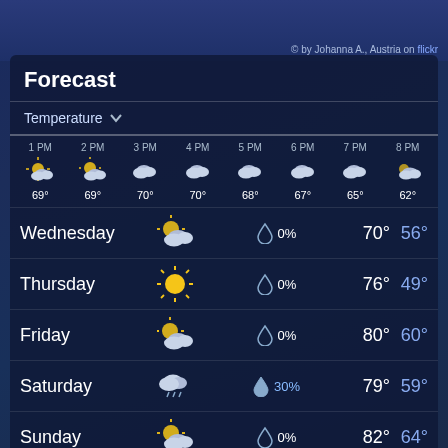© by Johanna A., Austria on flickr
Forecast
Temperature ∨
| 1 PM | 2 PM | 3 PM | 4 PM | 5 PM | 6 PM | 7 PM | 8 PM |
| --- | --- | --- | --- | --- | --- | --- | --- |
| 69° | 69° | 70° | 70° | 68° | 67° | 65° | 62° |
| Day | Icon | Precip% | High | Low |
| --- | --- | --- | --- | --- |
| Wednesday | partly-cloudy | 0% | 70° | 56° |
| Thursday | sunny | 0% | 76° | 49° |
| Friday | partly-cloudy-sun | 0% | 80° | 60° |
| Saturday | rainy | 30% | 79° | 59° |
| Sunday | partly-cloudy | 0% | 82° | 64° |
| Monday | partly-cloudy-sun | 0% | 83° | 63° |
| Tuesday | partly-cloudy-sun | 0% | 72° | 58° |